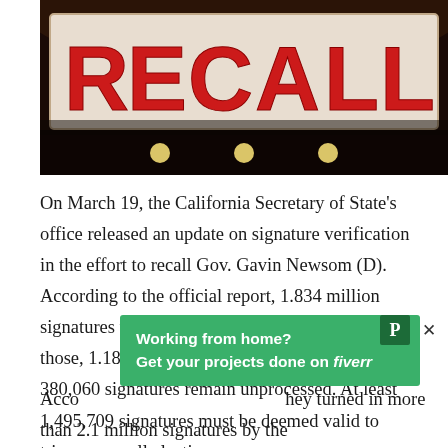[Figure (photo): Photograph of a large red and white 'RECALL' banner hanging inside what appears to be a government building rotunda, with crowds of people below and stage lights visible]
On March 19, the California Secretary of State's office released an update on signature verification in the effort to recall Gov. Gavin Newsom (D). According to the official report, 1.834 million signatures were turned in through March 11. Of those, 1.188 million were deemed valid. Another 380,060 signatures remain unprocessed. At least 1,495,709 signatures must be deemed valid to trigger a recall election.
[Figure (infographic): Green advertisement banner reading 'Working from home? Get your projects done on fiverr']
Acco... they turned in more than 2.1 million signatures by the